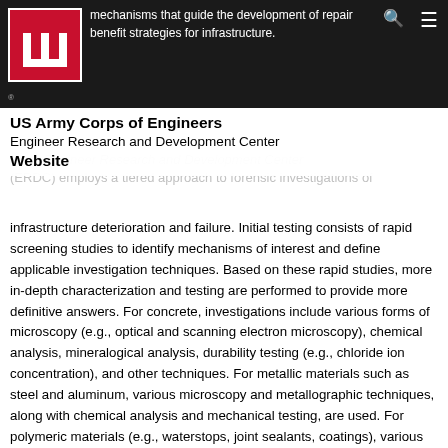mechanisms that guide the development of repair benefit strategies for infrastructure.
US Army Corps of Engineers
Engineer Research and Development Center
Website
Army Engineer Research and Development Center (ERDC) employs a tiered approach to forensic investigations of infrastructure deterioration and failure. Initial testing consists of rapid screening studies to identify mechanisms of interest and define applicable investigation techniques. Based on these rapid studies, more in-depth characterization and testing are performed to provide more definitive answers. For concrete, investigations include various forms of microscopy (e.g., optical and scanning electron microscopy), chemical analysis, mineralogical analysis, durability testing (e.g., chloride ion concentration), and other techniques. For metallic materials such as steel and aluminum, various microscopy and metallographic techniques, along with chemical analysis and mechanical testing, are used. For polymeric materials (e.g., waterstops, joint sealants, coatings), various types of characterization, durability studies and mechanical testing are performed. Non-destructive testing and evaluation is another